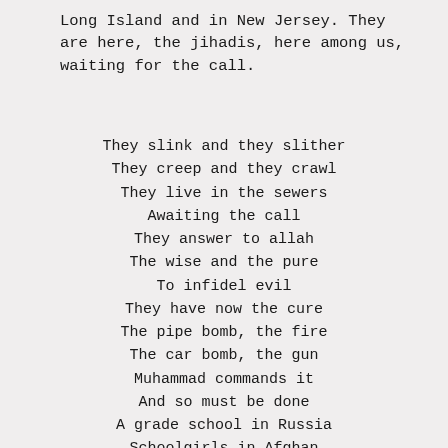Long Island and in New Jersey. They are here, the jihadis, here among us, waiting for the call.
They slink and they slither
They creep and they crawl
They live in the sewers
Awaiting the call
They answer to allah
The wise and the pure
To infidel evil
They have now the cure
The pipe bomb, the fire
The car bomb, the gun
Muhammad commands it
And so must be done
A grade school in Russia
Schoolgirls in Afghan
They kill and they slaughter